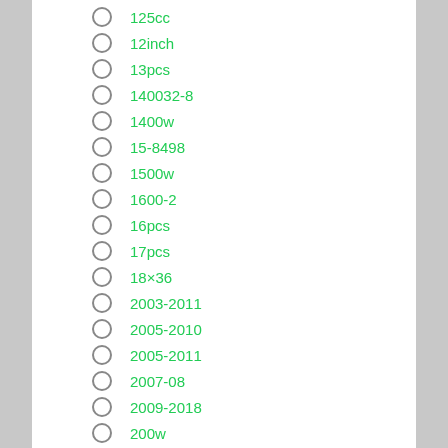125cc
12inch
13pcs
140032-8
1400w
15-8498
1500w
1600-2
16pcs
17pcs
18×36
2003-2011
2005-2010
2005-2011
2007-08
2009-2018
200w
2011-2013
2012-2020